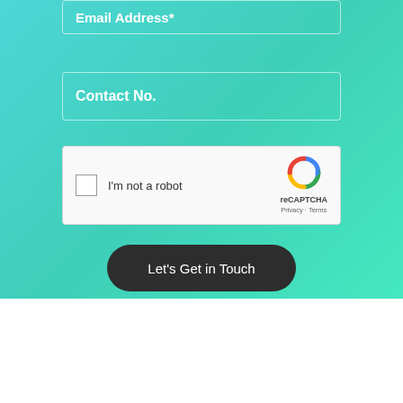Email Address*
Contact No.
[Figure (screenshot): reCAPTCHA widget with checkbox labeled 'I'm not a robot' and reCAPTCHA logo with Privacy and Terms links]
Let's Get in Touch
Was this article helpful? Give it a share!
[Figure (infographic): Three social share icons: LinkedIn (blue), Facebook (blue), and Email (gray)]